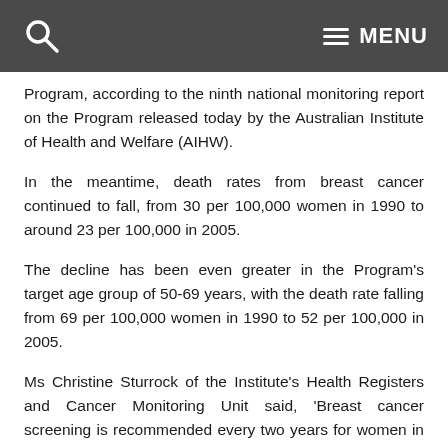MENU
Program, according to the ninth national monitoring report on the Program released today by the Australian Institute of Health and Welfare (AIHW).
In the meantime, death rates from breast cancer continued to fall, from 30 per 100,000 women in 1990 to around 23 per 100,000 in 2005.
The decline has been even greater in the Program's target age group of 50-69 years, with the death rate falling from 69 per 100,000 women in 1990 to 52 per 100,000 in 2005.
Ms Christine Sturrock of the Institute's Health Registers and Cancer Monitoring Unit said, 'Breast cancer screening is recommended every two years for women in this age bracket and BreastScreen Australia aims to screen at least 70% of the eligible women in each 2-year period.'
The BreastScreen Australia monitoring report 2004-2005 shows that…